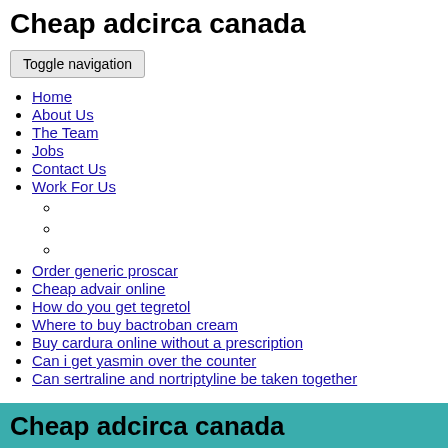Cheap adcirca canada
Toggle navigation
Home
About Us
The Team
Jobs
Contact Us
Work For Us
Order generic proscar
Cheap advair online
How do you get tegretol
Where to buy bactroban cream
Buy cardura online without a prescription
Can i get yasmin over the counter
Can sertraline and nortriptyline be taken together
Cheap adcirca canada